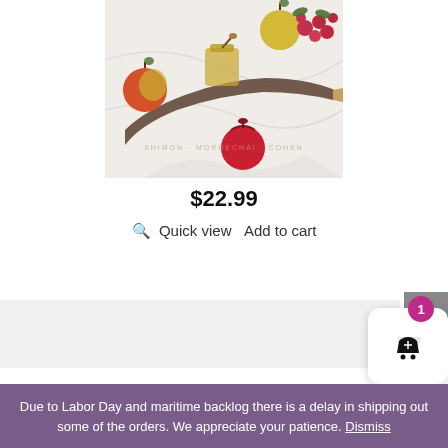[Figure (photo): Product photo of a Rosh Hashanah themed book cover showing apples, pomegranate, honey jar, shofar horn on a white cloth background. Text watermark reads SHIMON MORDECHAI COHEN.]
$22.99
Quick view  Add to cart
Due to Labor Day and maritime backlog there is a delay in shipping out some of the orders. We appreciate your patience. Dismiss